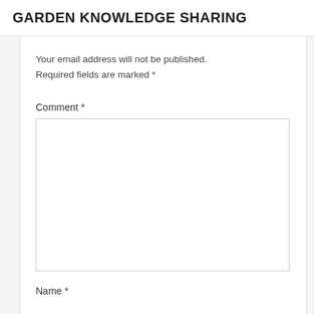GARDEN KNOWLEDGE SHARING
Your email address will not be published.
Required fields are marked *
Comment *
[Figure (other): Empty comment textarea input box]
Name *